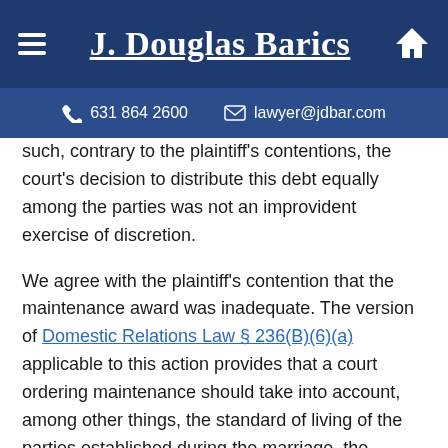J. Douglas Barics | 631 864 2600 | lawyer@jdbar.com
such, contrary to the plaintiff's contentions, the court's decision to distribute this debt equally among the parties was not an improvident exercise of discretion.
We agree with the plaintiff's contention that the maintenance award was inadequate. The version of Domestic Relations Law § 236(B)(6)(a) applicable to this action provides that a court ordering maintenance should take into account, among other things, the standard of living of the parties established during the marriage, the income and property of the parties, the distribution of marital property, the duration of the marriage, the age and health of the parties, their present and future earning